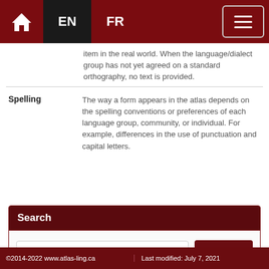EN  FR
item in the real world. When the language/dialect group has not yet agreed on a standard orthography, no text is provided.
| Term | Definition |
| --- | --- |
| Spelling | The way a form appears in the atlas depends on the spelling conventions or preferences of each language group, community, or individual. For example, differences in the use of punctuation and capital letters. |
Search
©2014-2022 www.atlas-ling.ca    Last modified: July 7, 2021